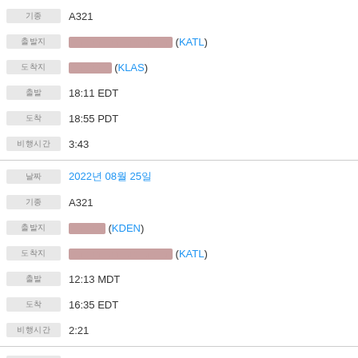| 기종 | A321 |
| 출발지 | [REDACTED] (KATL) |
| 도착지 | [REDACTED] (KLAS) |
| 출발 | 18:11 EDT |
| 도착 | 18:55 PDT |
| 비행시간 | 3:43 |
| 날짜 | 2022년 08월 25일 |
| 기종 | A321 |
| 출발지 | [REDACTED] (KDEN) |
| 도착지 | [REDACTED] (KATL) |
| 출발 | 12:13 MDT |
| 도착 | 16:35 EDT |
| 비행시간 | 2:21 |
| 날짜 | 2022년 08월 25일 |
| 기종 | A321 |
| 출발지 | [REDACTED] (KMSP) |
| 도착지 | [REDACTED] (KDEN) |
| 출발 | 09:38 CDT |
| 도착 | 10:14 MDT |
| 비행시간 | 1:35 |